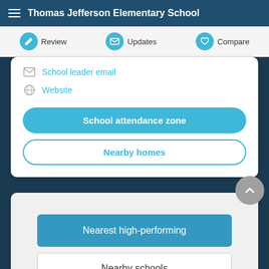Thomas Jefferson Elementary School
Review | Updates | Compare
School leader email
Website
School attendance zone
Nearby homes
Nearest high-performing
Nearby schools